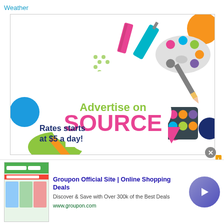Weather
[Figure (illustration): Advertise on SOURCE promotional banner with art supplies, pencils, paint brushes, watercolors, and colorful shapes surrounding a cloud shape with text 'Advertise on SOURCE — Rates starts at $5 a day!']
[Figure (screenshot): Groupon advertisement banner showing: 'Groupon Official Site | Online Shopping Deals — Discover & Save with Over 300k of the Best Deals — www.groupon.com' with Groupon website screenshot thumbnail on left and circular arrow button on right]